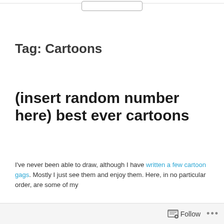Tag: Cartoons
(insert random number here) best ever cartoons
I've never been able to draw, although I have written a few cartoon gags. Mostly I just see them and enjoy them. Here, in no particular order, are some of my
Follow ...